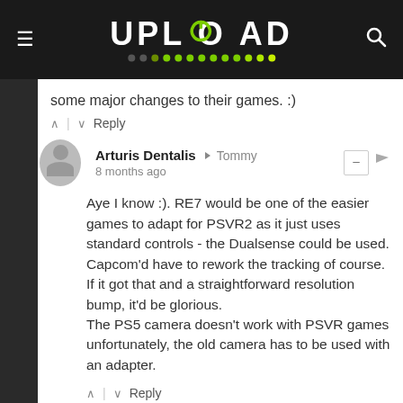UPLOAD
some major changes to their games. :)
Arturis Dentalis → Tommy
8 months ago
Aye I know :). RE7 would be one of the easier games to adapt for PSVR2 as it just uses standard controls - the Dualsense could be used. Capcom'd have to rework the tracking of course. If it got that and a straightforward resolution bump, it'd be glorious.
The PS5 camera doesn't work with PSVR games unfortunately, the old camera has to be used with an adapter.
PsYcHo → LaRocky
8 months ago